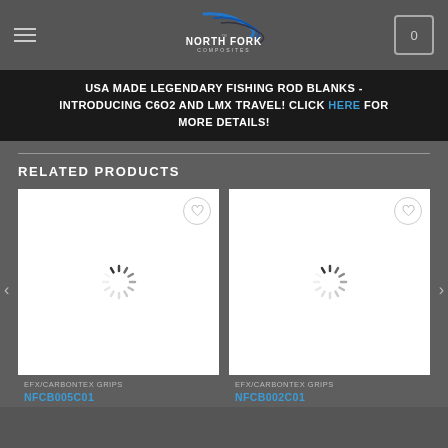North Fork Composites
USA MADE LEGENDARY FISHING ROD BLANKS - INTRODUCING C6O2 AND LMX TRAVEL! CLICK HERE FOR MORE DETAILS!
RELATED PRODUCTS
[Figure (screenshot): Product card 1 with loading spinner and wishlist heart button]
EFX/CARBONTEX GRIPS
NFCB005C01
[Figure (screenshot): Product card 2 with loading spinner and wishlist heart button]
EFX/CARBONTEX GRIPS
NFCB002C01